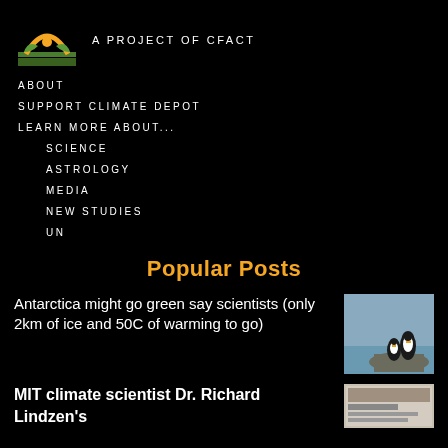A PROJECT OF CFACT
ABOUT
SUPPORT CLIMATE DEPOT
LEARN MORE ABOUT...
SCIENCE
ASTROLOGY
MEDIA
NEW STUDIES
UN
Popular Posts
Antarctica might go green say scientists (only 2km of ice and 50C of warming to go)
[Figure (photo): Two penguins on a rocky Antarctic landscape with grey sky and ocean in background]
MIT climate scientist Dr. Richard Lindzen's